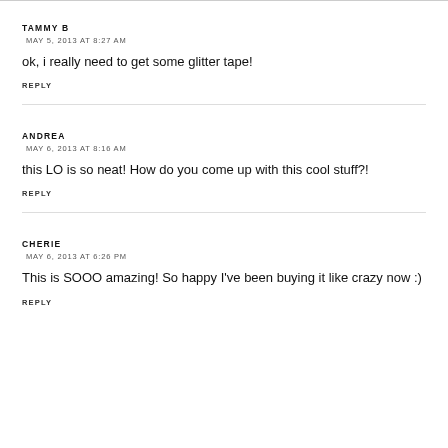TAMMY B
MAY 5, 2013 AT 8:27 AM
ok, i really need to get some glitter tape!
REPLY
ANDREA
MAY 6, 2013 AT 8:16 AM
this LO is so neat! How do you come up with this cool stuff?!
REPLY
CHERIE
MAY 6, 2013 AT 6:26 PM
This is SOOO amazing! So happy I've been buying it like crazy now :)
REPLY